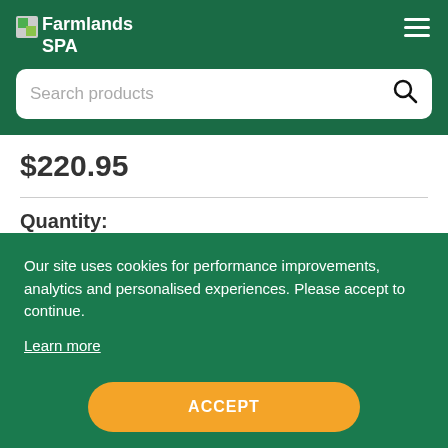Farmlands SPA
Search products
$220.95
Quantity:
Our site uses cookies for performance improvements, analytics and personalised experiences. Please accept to continue.
Learn more
ACCEPT